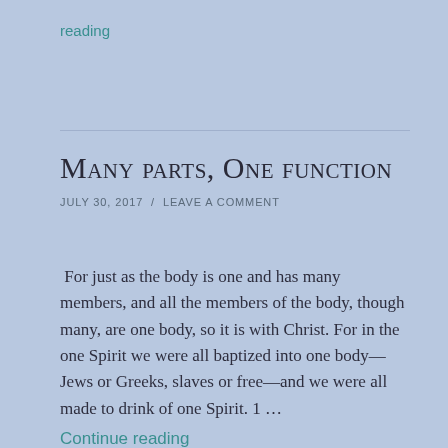reading
Many parts, One function
JULY 30, 2017  /  LEAVE A COMMENT
For just as the body is one and has many members, and all the members of the body, though many, are one body, so it is with Christ. For in the one Spirit we were all baptized into one body—Jews or Greeks, slaves or free—and we were all made to drink of one Spirit. 1 …
Continue reading